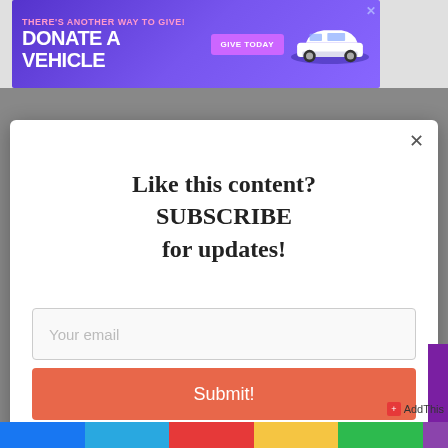[Figure (screenshot): Purple advertisement banner: 'THERE'S ANOTHER WAY TO GIVE! DONATE A VEHICLE' with a 'GIVE TODAY' button and car image]
Like this content?
SUBSCRIBE
for updates!
Your email
Submit!